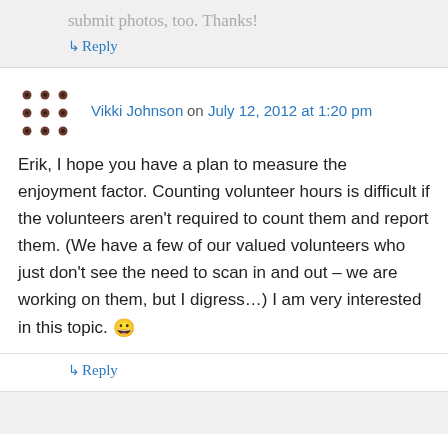submit photos, too. Thanks!
↳ Reply
Vikki Johnson on July 12, 2012 at 1:20 pm
Erik, I hope you have a plan to measure the enjoyment factor. Counting volunteer hours is difficult if the volunteers aren't required to count them and report them. (We have a few of our valued volunteers who just don't see the need to scan in and out – we are working on them, but I digress…) I am very interested in this topic. 😀
↳ Reply